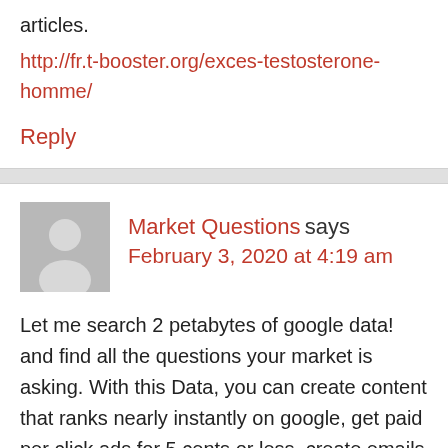articles.
http://fr.t-booster.org/exces-testosterone-homme/
Reply
Market Questions says
February 3, 2020 at 4:19 am
Let me search 2 petabytes of google data! and find all the questions your market is asking. With this Data, you can create content that ranks nearly instantly on google, get paid per click ads for 5 cents or less, create emails that people WANT to open and